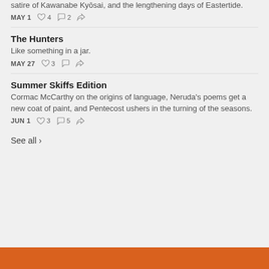satire of Kawanabe Kyōsai, and the lengthening days of Eastertide.
MAY 1  ♡ 4  💬 2  ➤
The Hunters
Like something in a jar.
MAY 27  ♡ 3  💬  ➤
Summer Skiffs Edition
Cormac McCarthy on the origins of language, Neruda's poems get a new coat of paint, and Pentecost ushers in the turning of the seasons.
JUN 1  ♡ 3  💬 5  ➤
See all ›